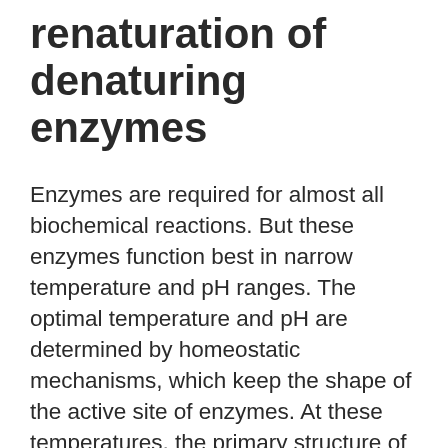renaturation of denaturing enzymes
Enzymes are required for almost all biochemical reactions. But these enzymes function best in narrow temperature and pH ranges. The optimal temperature and pH are determined by homeostatic mechanisms, which keep the shape of the active site of enzymes. At these temperatures, the primary structure of a polypeptide protein, including the covalent bonds holding amino acids in the correct sequence, is preserved. The interaction between the amino acids and the enzyme returns the protein to its original conformation, allowing it to resume its function.